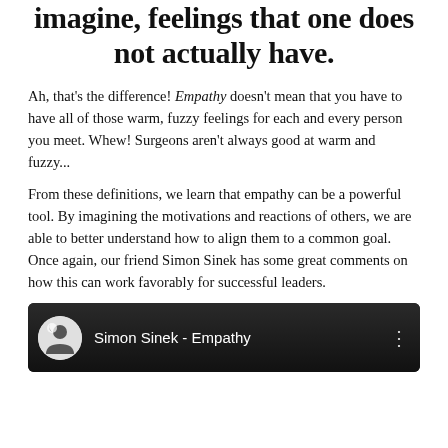imagine, feelings that one does not actually have.
Ah, that's the difference! Empathy doesn't mean that you have to have all of those warm, fuzzy feelings for each and every person you meet. Whew! Surgeons aren't always good at warm and fuzzy...
From these definitions, we learn that empathy can be a powerful tool. By imagining the motivations and reactions of others, we are able to better understand how to align them to a common goal. Once again, our friend Simon Sinek has some great comments on how this can work favorably for successful leaders.
[Figure (screenshot): Video thumbnail for Simon Sinek - Empathy. Dark background with a circular logo icon on the left, title 'Simon Sinek - Empathy' in white text, and a vertical dots menu icon on the right.]